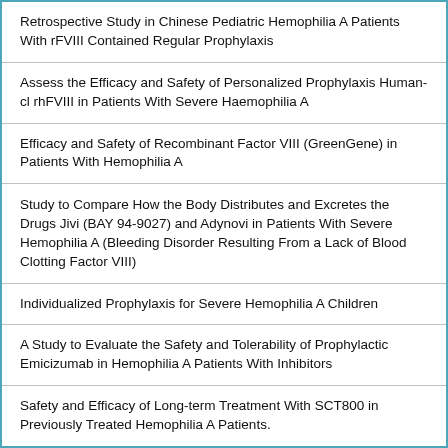| Retrospective Study in Chinese Pediatric Hemophilia A Patients With rFVIII Contained Regular Prophylaxis |
| Assess the Efficacy and Safety of Personalized Prophylaxis Human-cl rhFVIII in Patients With Severe Haemophilia A |
| Efficacy and Safety of Recombinant Factor VIII (GreenGene) in Patients With Hemophilia A |
| Study to Compare How the Body Distributes and Excretes the Drugs Jivi (BAY 94-9027) and Adynovi in Patients With Severe Hemophilia A (Bleeding Disorder Resulting From a Lack of Blood Clotting Factor VIII) |
| Individualized Prophylaxis for Severe Hemophilia A Children |
| A Study to Evaluate the Safety and Tolerability of Prophylactic Emicizumab in Hemophilia A Patients With Inhibitors |
| Safety and Efficacy of Long-term Treatment With SCT800 in Previously Treated Hemophilia A Patients. |